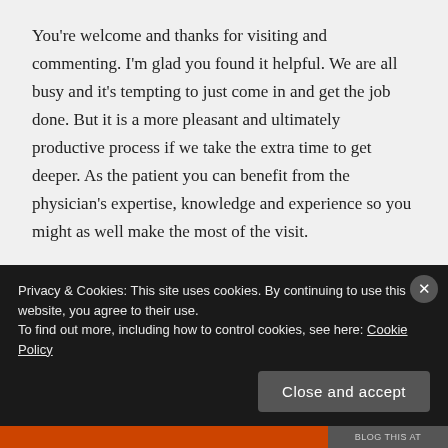You're welcome and thanks for visiting and commenting. I'm glad you found it helpful. We are all busy and it's tempting to just come in and get the job done. But it is a more pleasant and ultimately productive process if we take the extra time to get deeper. As the patient you can benefit from the physician's expertise, knowledge and experience so you might as well make the most of the visit.
★ Like
Log in to Reply
Privacy & Cookies: This site uses cookies. By continuing to use this website, you agree to their use. To find out more, including how to control cookies, see here: Cookie Policy
Close and accept